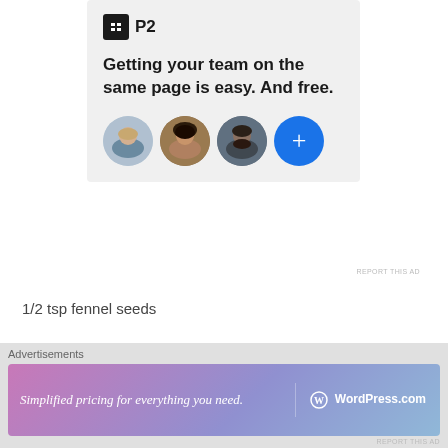[Figure (screenshot): P2 advertisement banner on a light gray background. Shows P2 logo (black square icon with white H shape and 'P2' text), headline 'Getting your team on the same page is easy. And free.', three circular avatar photos and one blue circle with a plus sign.]
REPORT THIS AD
1/2 tsp fennel seeds
2 tbsp oil Few curry leaves(optional)
[Figure (screenshot): Close/X button circle on right side]
Advertisements
[Figure (screenshot): WordPress.com advertisement banner with gradient pink-purple-blue background. Text reads 'Simplified pricing for everything you need.' with WordPress.com logo on the right.]